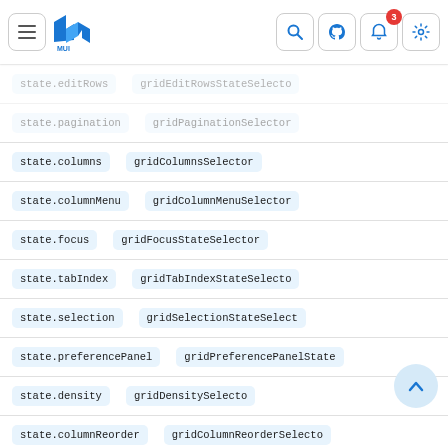Navigation bar with MUI logo, search, github, notification (3), settings icons
| State | Selector |
| --- | --- |
| state.editRows | gridEditRowsStateSelector |
| state.pagination | gridPaginationSelector |
| state.columns | gridColumnsSelector |
| state.columnMenu | gridColumnMenuSelector |
| state.focus | gridFocusStateSelector |
| state.tabIndex | gridTabIndexStateSelector |
| state.selection | gridSelectionStateSelector |
| state.preferencePanel | gridPreferencePanelStateS… |
| state.density | gridDensitySelector |
| state.columnReorder | gridColumnReorderSelector |